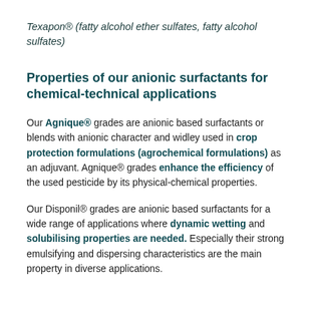Texapon® (fatty alcohol ether sulfates, fatty alcohol sulfates)
Properties of our anionic surfactants for chemical-technical applications
Our Agnique® grades are anionic based surfactants or blends with anionic character and widley used in crop protection formulations (agrochemical formulations) as an adjuvant. Agnique® grades enhance the efficiency of the used pesticide by its physical-chemical properties.
Our Disponil® grades are anionic based surfactants for a wide range of applications where dynamic wetting and solubilising properties are needed. Especially their strong emulsifying and dispersing characteristics are the main property in diverse applications.